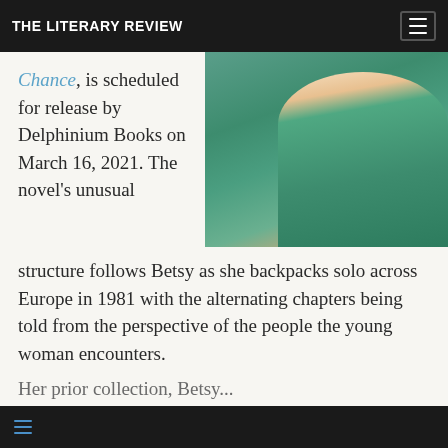THE LITERARY REVIEW
Chance, is scheduled for release by Delphinium Books on March 16, 2021. The novel's unusual structure follows Betsy as she backpacks solo across Europe in 1981 with the alternating chapters being told from the perspective of the people the young woman encounters.
[Figure (photo): Woman in teal/green top with arms crossed, photographed from chest up against a light background]
Her prior collection, Betsy...